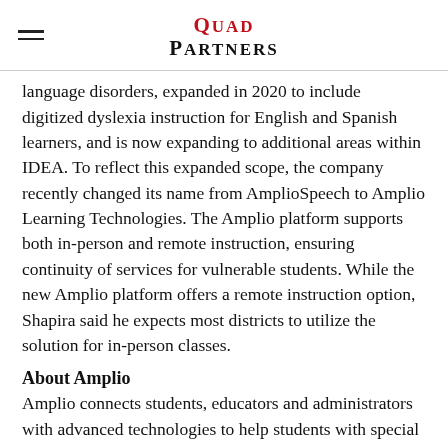Quad Partners
language disorders, expanded in 2020 to include digitized dyslexia instruction for English and Spanish learners, and is now expanding to additional areas within IDEA. To reflect this expanded scope, the company recently changed its name from AmplioSpeech to Amplio Learning Technologies. The Amplio platform supports both in-person and remote instruction, ensuring continuity of services for vulnerable students. While the new Amplio platform offers a remote instruction option, Shapira said he expects most districts to utilize the solution for in-person classes.
About Amplio
Amplio connects students, educators and administrators with advanced technologies to help students with special needs maximize their potential and improve outcomes. Amplio's digital platform